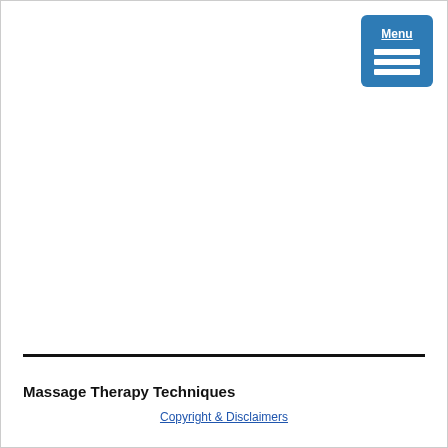[Figure (other): Blue menu button with 'Menu' label and three horizontal white bars (hamburger icon) in the upper right corner]
Massage Therapy Techniques
Copyright & Disclaimers